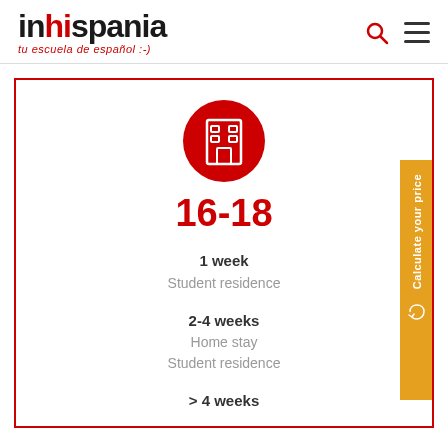[Figure (logo): inhispania logo with red 'hi' highlight and subtitle 'tu escuela de español :-)' ]
[Figure (infographic): Red bordered box with building icon, age range 16-18, accommodation options by week duration: 1 week Student residence; 2-4 weeks Home stay Student residence; > 4 weeks (continues off page)]
16-18
1 week
Student residence
2-4 weeks
Home stay
Student residence
> 4 weeks